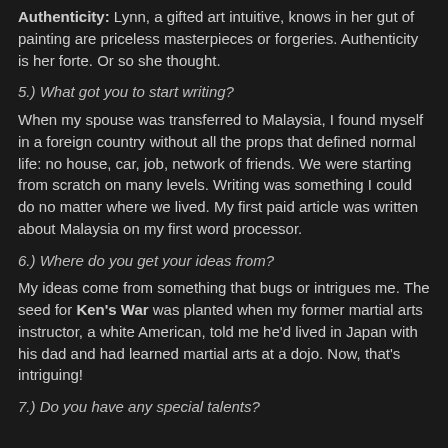Authenticity: Lynn, a gifted art intuitive, knows in her gut of painting are priceless masterpieces or forgeries. Authenticity is her forte. Or so she thought.
5.) What got you to start writing?
When my spouse was transferred to Malaysia, I found myself in a foreign country without all the props that defined normal life: no house, car, job, network of friends. We were starting from scratch on many levels. Writing was something I could do no matter where we lived. My first paid article was written about Malaysia on my first word processor.
6.) Where do you get your ideas from?
My ideas come from something that bugs or intrigues me. The seed for Ken's War was planted when my former martial arts instructor, a white American, told me he'd lived in Japan with his dad and had learned martial arts at a dojo. Now, that's intriguing!
7.) Do you have any special talents?